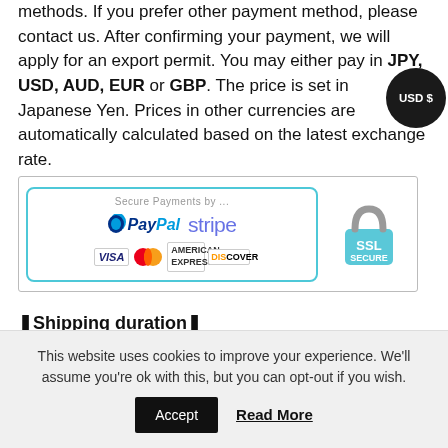methods. If you prefer other payment method, please contact us. After confirming your payment, we will apply for an export permit. You may either pay in JPY, USD, AUD, EUR or GBP. The price is set in Japanese Yen. Prices in other currencies are automatically calculated based on the latest exchange rate.
[Figure (infographic): Secure Payments banner showing PayPal, Stripe, Visa, MasterCard, American Express, Discover card logos in a teal-bordered box, and an SSL SECURE padlock badge]
❚Shipping duration❚
We normally ship via EMS (Express Mail Service)
This website uses cookies to improve your experience. We'll assume you're ok with this, but you can opt-out if you wish.
Accept   Read More